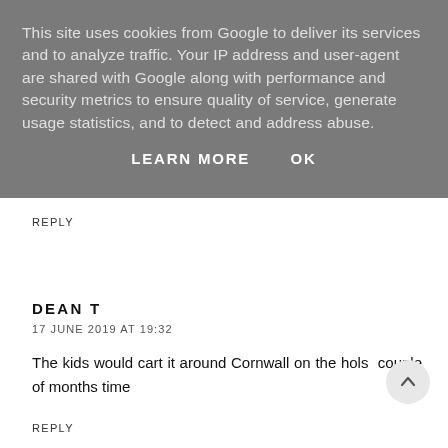This site uses cookies from Google to deliver its services and to analyze traffic. Your IP address and user-agent are shared with Google along with performance and security metrics to ensure quality of service, generate usage statistics, and to detect and address abuse.
LEARN MORE    OK
REPLY
DEAN T
17 JUNE 2019 AT 19:32
The kids would cart it around Cornwall on the hols couple of months time
REPLY